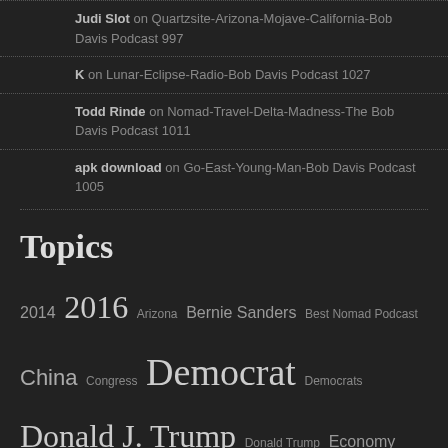Judi Slot on Quartzsite-Arizona-Mojave-California-Bob Davis Podcast 997
K on Lunar-Eclipse-Radio-Bob Davis Podcast 1027
Todd Rinde on Nomad-Travel-Delta-Madness-The Bob Davis Podcast 1011
apk download on Go-East-Young-Man-Bob Davis Podcast 1005
Topics
2014 2016 Arizona Bernie Sanders Best Nomad Podcast China Congress Democrat Democrats Donald J. Trump Donald Trump Economy FaceBook Florida Greg Ryan Hillary Clinton Iowa ISIS Media Minnesota